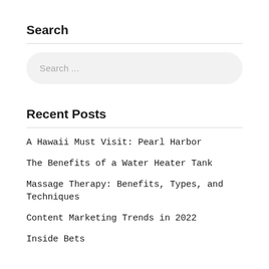Search
[Figure (other): Search input box with placeholder text 'Search ...']
Recent Posts
A Hawaii Must Visit: Pearl Harbor
The Benefits of a Water Heater Tank
Massage Therapy: Benefits, Types, and Techniques
Content Marketing Trends in 2022
Inside Bets